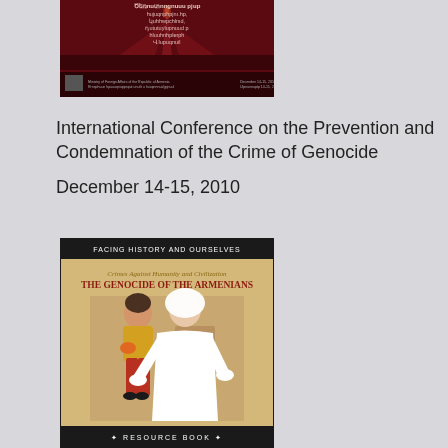[Figure (illustration): Book cover in Armenian language with dark red/maroon background showing a monument or memorial structure, with Armenian text and small logo/text at the bottom]
International Conference on the Prevention and Condemnation of the Crime of Genocide
December 14-15, 2010
[Figure (illustration): Book cover titled 'Facing History and Ourselves: Crimes Against Humanity and Civilization - THE GENOCIDE OF THE ARMENIANS' showing an illustration of two figures (a child and an adult woman in white) with a Resource Book label at the bottom]